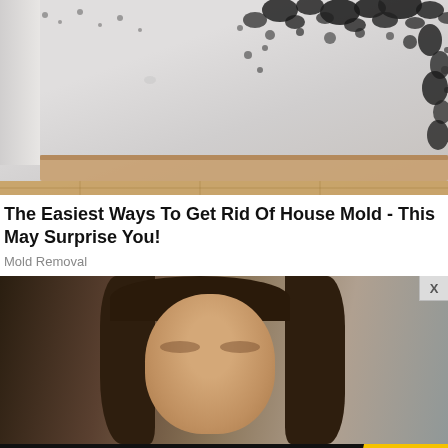[Figure (photo): Photo of black mold growing on white walls at a corner, with a wooden baseboard and hardwood floor visible below.]
The Easiest Ways To Get Rid Of House Mold - This May Surprise You!
Mold Removal
[Figure (photo): Photo of a young brunette woman looking upward, with blurred background. An 'X' close button appears in the top right corner.]
[Figure (screenshot): Advertisement banner: 'AMAZON FIRE TVS AS LOW AS $319' with SPY logo on yellow background. Includes a small X close button.]